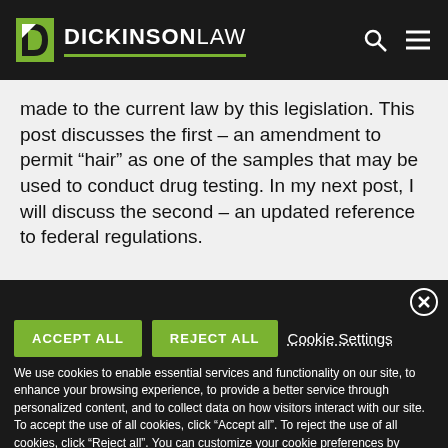DICKINSONLAW
made to the current law by this legislation. This post discusses the first – an amendment to permit “hair” as one of the samples that may be used to conduct drug testing. In my next post, I will discuss the second – an updated reference to federal regulations.
We use cookies to enable essential services and functionality on our site, to enhance your browsing experience, to provide a better service through personalized content, and to collect data on how visitors interact with our site. To accept the use of all cookies, click “Accept all”. To reject the use of all cookies, click “Reject all”. You can customize your cookie preferences by clicking “Cookie Settings”. For more information about our use of cookies and to opt-out of cookies at any time, please refer to our website Privacy Policy.